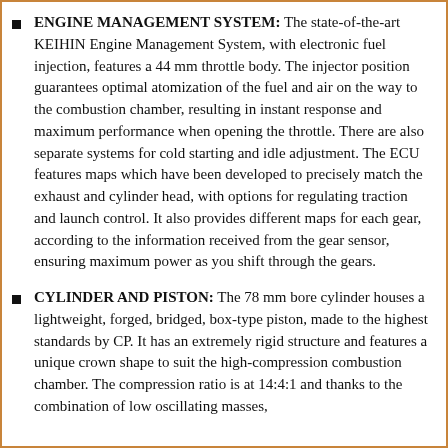ENGINE MANAGEMENT SYSTEM: The state-of-the-art KEIHIN Engine Management System, with electronic fuel injection, features a 44 mm throttle body. The injector position guarantees optimal atomization of the fuel and air on the way to the combustion chamber, resulting in instant response and maximum performance when opening the throttle. There are also separate systems for cold starting and idle adjustment. The ECU features maps which have been developed to precisely match the exhaust and cylinder head, with options for regulating traction and launch control. It also provides different maps for each gear, according to the information received from the gear sensor, ensuring maximum power as you shift through the gears.
CYLINDER AND PISTON: The 78 mm bore cylinder houses a lightweight, forged, bridged, box-type piston, made to the highest standards by CP. It has an extremely rigid structure and features a unique crown shape to suit the high-compression combustion chamber. The compression ratio is at 14:4:1 and thanks to the combination of low oscillating masses,